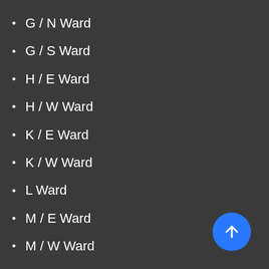G / N Ward
G / S Ward
H / E Ward
H / W Ward
K / E Ward
K / W Ward
L Ward
M / E Ward
M / W Ward